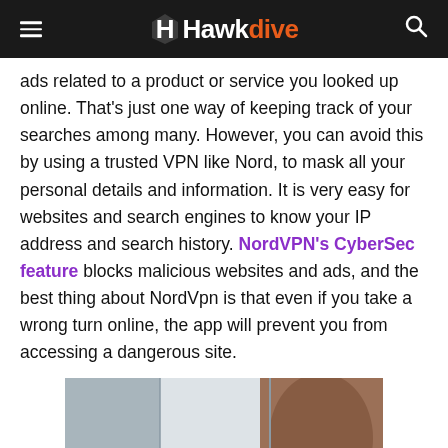Hawkdive
ads related to a product or service you looked up online. That's just one way of keeping track of your searches among many. However, you can avoid this by using a trusted VPN like Nord, to mask all your personal details and information. It is very easy for websites and search engines to know your IP address and search history. NordVPN's CyberSec feature blocks malicious websites and ads, and the best thing about NordVpn is that even if you take a wrong turn online, the app will prevent you from accessing a dangerous site.
[Figure (photo): A blurred photo of a person (with brown hair) in what appears to be an office or indoor environment with light-colored walls and glass panels.]